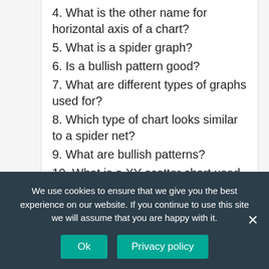4. What is the other name for horizontal axis of a chart?
5. What is a spider graph?
6. Is a bullish pattern good?
7. What are different types of graphs used for?
8. Which type of chart looks similar to a spider net?
9. What are bullish patterns?
10. What is a XY scatter chart used for?
11. What are the 3 main types of graphs?
12. Which type of chart looks similar to a
We use cookies to ensure that we give you the best experience on our website. If you continue to use this site we will assume that you are happy with it.